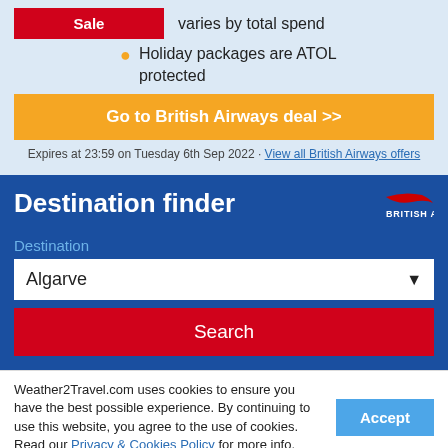Sale  varies by total spend
Holiday packages are ATOL protected
Go to British Airways deal >>
Expires at 23:59 on Tuesday 6th Sep 2022 · View all British Airways offers
Destination finder
Destination
Algarve
Search
Weather2Travel.com uses cookies to ensure you have the best possible experience. By continuing to use this website, you agree to the use of cookies. Read our Privacy & Cookies Policy for more info.